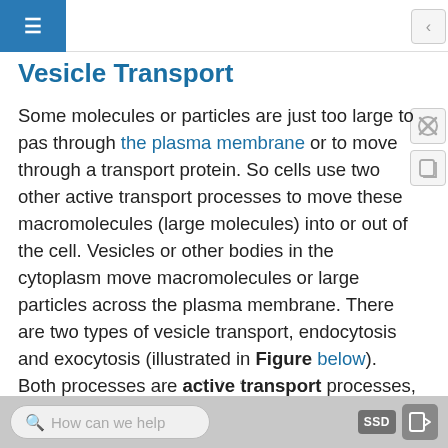≡
Vesicle Transport
Some molecules or particles are just too large to pass through the plasma membrane or to move through a transport protein. So cells use two other active transport processes to move these macromolecules (large molecules) into or out of the cell. Vesicles or other bodies in the cytoplasm move macromolecules or large particles across the plasma membrane. There are two types of vesicle transport, endocytosis and exocytosis (illustrated in Figure below). Both processes are active transport processes, requiring energy.
How can we help  SSD